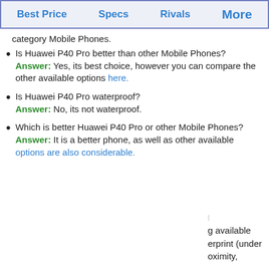Best Price   Specs   Rivals   More
category Mobile Phones.
Is Huawei P40 Pro better than other Mobile Phones? Answer: Yes, its best choice, however you can compare the other available options here.
Is Huawei P40 Pro waterproof? Answer: No, its not waterproof.
Which is better Huawei P40 Pro or other Mobile Phones? Answer: It is a better phone, as well as other available options are also considerable.
g available erprint (under oximity,